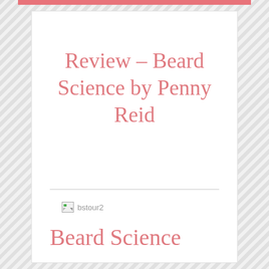Review – Beard Science by Penny Reid
[Figure (photo): Broken image placeholder showing a small broken image icon followed by alt text 'bstour2']
Beard Science